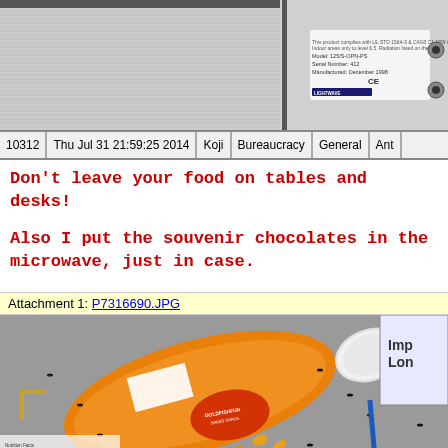[Figure (photo): Close-up photo of a metallic/aluminum surface on the left and an electronic device with a label on the right showing: Model: 125/S-OPN-PS, Serial Number: 412, Manufactured: December 1998, CE mark, Lightwave brand label]
| 10312 | Thu Jul 31 21:59:25 2014 | Koji | Bureaucracy | General | Ant |
| --- | --- | --- | --- | --- | --- |
Don't leave your food on tables and desks!

Also I put the souvenir chocolates in the microwave, just in case.
Attachment 1: P7316690.JPG
[Figure (photo): Photo of a spilled bag of Goldfish crackers on a desk surface with ants scattered around, a coffee mug tipped over, and a book visible in the upper right corner]